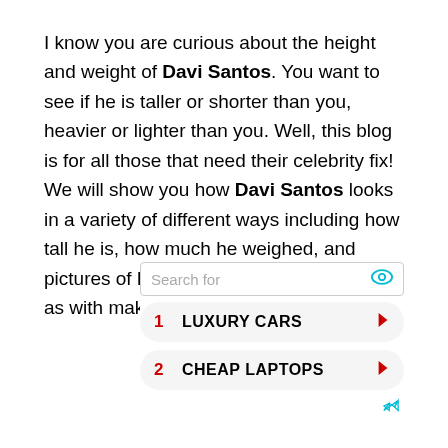I know you are curious about the height and weight of Davi Santos. You want to see if he is taller or shorter than you, heavier or lighter than you. Well, this blog is for all those that need their celebrity fix! We will show you how Davi Santos looks in a variety of different ways including how tall he is, how much he weighed, and pictures of him without makeup on as well as with makeup on.
[Figure (other): Advertisement widget with search bar labeled 'Search for' with an eye icon, followed by two search result rows: 1) LUXURY CARS and 2) CHEAP LAPTOPS, each with a red arrow button. A small share icon appears at the bottom right.]